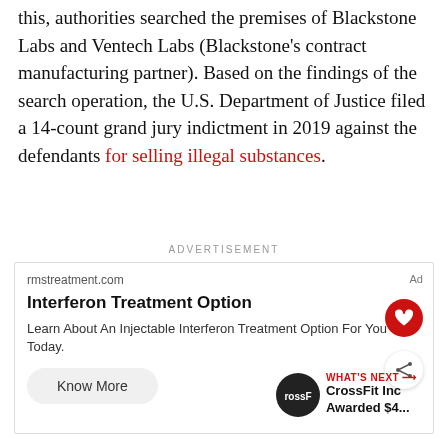this, authorities searched the premises of Blackstone Labs and Ventech Labs (Blackstone's contract manufacturing partner). Based on the findings of the search operation, the U.S. Department of Justice filed a 14-count grand jury indictment in 2019 against the defendants for selling illegal substances.
ADVERTISEMENT
[Figure (other): Advertisement box from rmstreatment.com for Interferon Treatment Option with heart and share buttons, Know More button, and CrossFit Inc news strip at the bottom right]